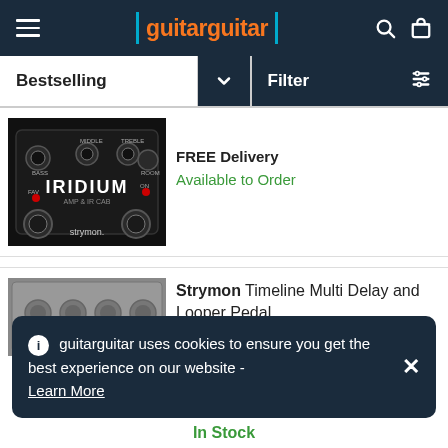guitarguitar
Bestselling
Filter
[Figure (photo): Strymon Iridium amp and IR cab pedal, black with knobs for BASS, MIDDLE, TREBLE, ROOM, FAV, ON controls]
FREE Delivery
Available to Order
Strymon Timeline Multi Delay and Looper Pedal
[Figure (photo): Strymon Timeline Multi Delay pedal, partially visible]
guitarguitar uses cookies to ensure you get the best experience on our website - Learn More
In Stock